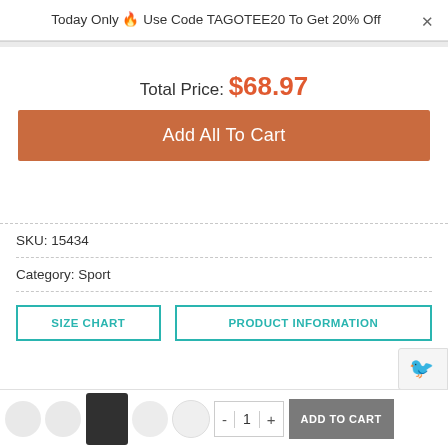Today Only 🔥 Use Code TAGOTEE20 To Get 20% Off
Total Price: $68.97
Add All To Cart
SKU: 15434
Category: Sport
SIZE CHART
PRODUCT INFORMATION
ADD TO CART